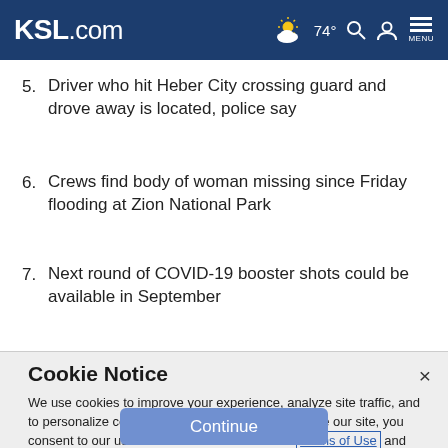KSL.com — 74° weather, search, account, menu
5. Driver who hit Heber City crossing guard and drove away is located, police say
6. Crews find body of woman missing since Friday flooding at Zion National Park
7. Next round of COVID-19 booster shots could be available in September
Cookie Notice
We use cookies to improve your experience, analyze site traffic, and to personalize content and ads. By continuing to use our site, you consent to our use of cookies. Please visit our Terms of Use and Privacy Policy for more information.
Continue